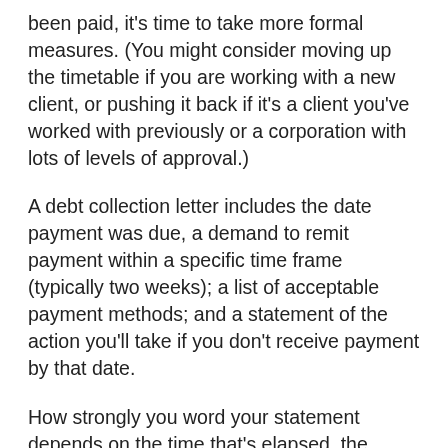been paid, it's time to take more formal measures. (You might consider moving up the timetable if you are working with a new client, or pushing it back if it's a client you've worked with previously or a corporation with lots of levels of approval.)
A debt collection letter includes the date payment was due, a demand to remit payment within a specific time frame (typically two weeks); a list of acceptable payment methods; and a statement of the action you'll take if you don't receive payment by that date.
How strongly you word your statement depends on the time that's elapsed, the amount you are owed, and your interest in continuing to work with the client in the future.